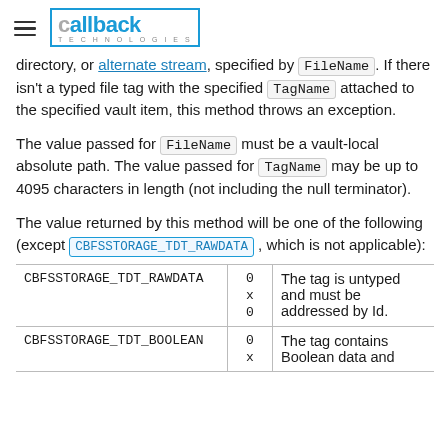callback (logo)
directory, or alternate stream, specified by FileName. If there isn't a typed file tag with the specified TagName attached to the specified vault item, this method throws an exception.
The value passed for FileName must be a vault-local absolute path. The value passed for TagName may be up to 4095 characters in length (not including the null terminator).
The value returned by this method will be one of the following (except CBFSSTORAGE_TDT_RAWDATA , which is not applicable):
| Name | Value | Description |
| --- | --- | --- |
| CBFSSTORAGE_TDT_RAWDATA | 0x0 | The tag is untyped and must be addressed by Id. |
| CBFSSTORAGE_TDT_BOOLEAN | 0x... | The tag contains Boolean data and |